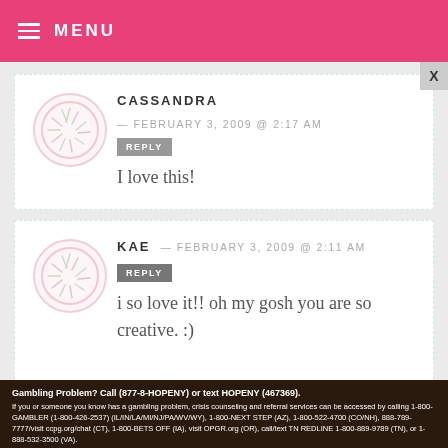MENU
CASSANDRA — FEBRUARY 3, 2009 @ 2:17 AM
REPLY
I love this!
KAE — FEBRUARY 3, 2009 @ 2:11 AM
REPLY
i so love it!! oh my gosh you are so creative. :)
Gambling Problem? Call (877-8-HOPENY) or text HOPENY (467369). If you or someone you know has a gambling problem, crisis counseling and referral services can be accessed by calling 1-800-GAMBLER (1-800-426-2537) (IL/IN/LA/MI/NJ/PA/WV/WY), 1-800-NEXT STEP (AZ), 1-800-522-4700 (CO/NH), 888-789-7777/visit ccpg.org/chat (CT), 1-800-BETS OFF (IA), visit OPGR.org (OR), call/text TN REDLINE 1-800-889-9789 (TN), or 1-888-532-3500 (VA).